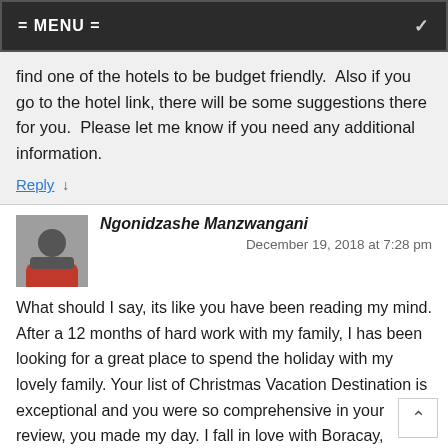= MENU =
find one of the hotels to be budget friendly.  Also if you go to the hotel link, there will be some suggestions there for you.  Please let me know if you need any additional information.
Reply ↓
Ngonidzashe Manzwangani
December 19, 2018 at 7:28 pm
What should I say, its like you have been reading my mind. After a 12 months of hard work with my family, I has been looking for a great place to spend the holiday with my lovely family. Your list of Christmas Vacation Destination is exceptional and you were so comprehensive in your review, you made my day. I fall in love with Boracay, Philippines. The place looks superb and the hotel, The Lind Boracay is amazing, can't wait for the days. This should be the most memorable Christmas ever
Reply